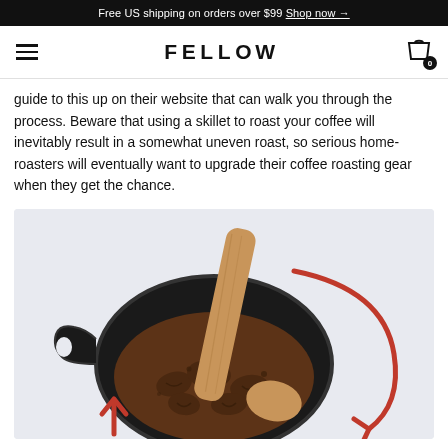Free US shipping on orders over $99 Shop now →
FELLOW
guide to this up on their website that can walk you through the process. Beware that using a skillet to roast your coffee will inevitably result in a somewhat uneven roast, so serious home-roasters will eventually want to upgrade their coffee roasting gear when they get the chance.
[Figure (illustration): Illustration of a cast iron skillet with coffee beans being stirred with a wooden spoon, and a red curved arrow indicating stirring motion, with a red upward arrow at the bottom left.]